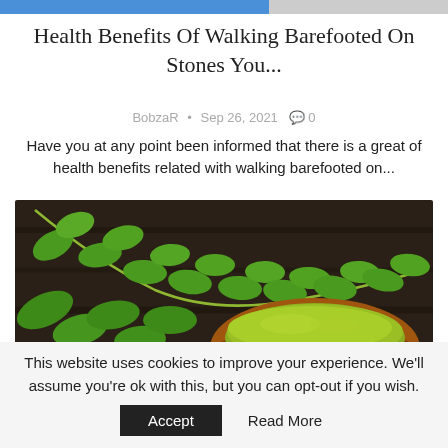Health Benefits Of Walking Barefooted On Stones You...
BobzaR • Sep 26, 2021 💬 0
Have you at any point been informed that there is a great of health benefits related with walking barefooted on...
[Figure (photo): Green moringa leaves spread on a dark wooden surface alongside a wicker basket filled with green moringa powder]
This website uses cookies to improve your experience. We'll assume you're ok with this, but you can opt-out if you wish.
Accept   Read More